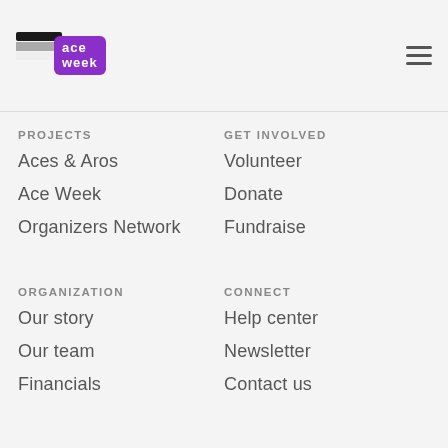[Figure (logo): Ace Week logo — purple rounded rectangle with 'ace week' text in white, with an Estonian-flag-style striped icon above]
PROJECTS
Aces & Aros
Ace Week
Organizers Network
GET INVOLVED
Volunteer
Donate
Fundraise
ORGANIZATION
Our story
Our team
Financials
CONNECT
Help center
Newsletter
Contact us